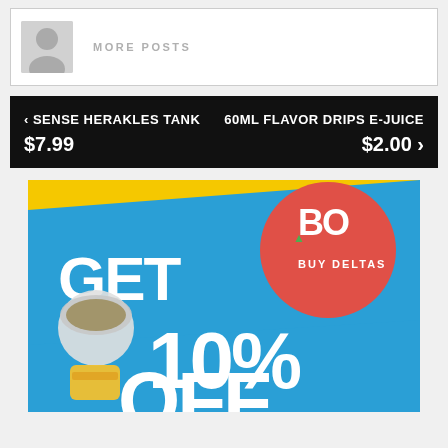[Figure (screenshot): User avatar placeholder with gray silhouette icon]
MORE POSTS
< SENSE HERAKLES TANK $7.99
60ML FLAVOR DRIPS E-JUICE $2.00 >
[Figure (advertisement): Buy Deltas promotional ad: GET 10% OFF with logo on yellow and blue background, cannabis product image]